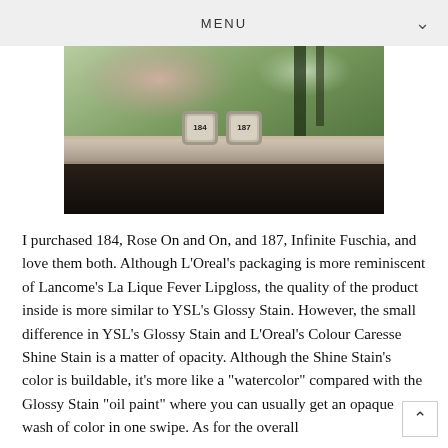MENU
[Figure (photo): Two lipstick/lip gloss products labeled 184 and 187 resting on a wooden railing outdoors, with blurred green foliage in the background.]
I purchased 184, Rose On and On, and 187, Infinite Fuschia, and love them both. Although L'Oreal's packaging is more reminiscent of Lancome's La Lique Fever Lipgloss, the quality of the product inside is more similar to YSL's Glossy Stain. However, the small difference in YSL's Glossy Stain and L'Oreal's Colour Caresse Shine Stain is a matter of opacity. Although the Shine Stain's color is buildable, it's more like a "watercolor" compared with the Glossy Stain "oil paint" where you can usually get an opaque wash of color in one swipe. As for the overall